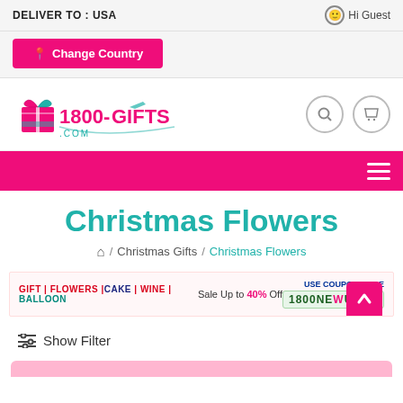DELIVER TO : USA
Hi Guest
Change Country
[Figure (logo): 1800-Gifts.com logo with gift box graphic in pink and teal]
Christmas Flowers
Home / Christmas Gifts / Christmas Flowers
GIFT | FLOWERS | CAKE | WINE | BALLOON  Sale Up to 40% Off  USE COUPON CODE 1800NEWUSER
Show Filter